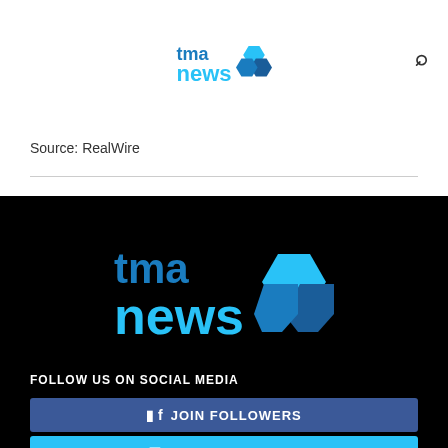[Figure (logo): TMA News logo with hexagon icons at top of page]
Source: RealWire
[Figure (logo): Large TMA News logo on black background in footer]
FOLLOW US ON SOCIAL MEDIA
JOIN FOLLOWERS (Facebook button)
JOIN FOLLOWERS (Twitter button)